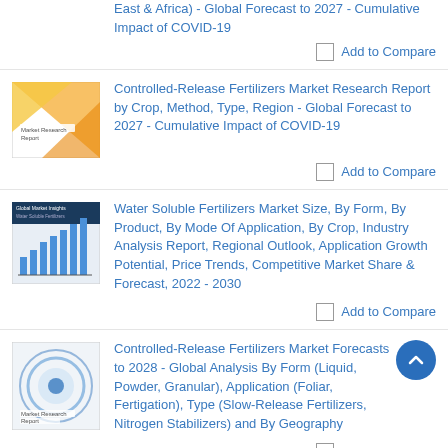East & Africa) - Global Forecast to 2027 - Cumulative Impact of COVID-19
Add to Compare
[Figure (illustration): Market Research Report book cover with orange/yellow diagonal gradient design]
Controlled-Release Fertilizers Market Research Report by Crop, Method, Type, Region - Global Forecast to 2027 - Cumulative Impact of COVID-19
Add to Compare
[Figure (illustration): Global Market Insights report cover with bar chart illustration on dark blue background]
Water Soluble Fertilizers Market Size, By Form, By Product, By Mode Of Application, By Crop, Industry Analysis Report, Regional Outlook, Application Growth Potential, Price Trends, Competitive Market Share & Forecast, 2022 - 2030
Add to Compare
[Figure (illustration): Market Research Report book cover with blue circular design]
Controlled-Release Fertilizers Market Forecasts to 2028 - Global Analysis By Form (Liquid, Powder, Granular), Application (Foliar, Fertigation), Type (Slow-Release Fertilizers, Nitrogen Stabilizers) and By Geography
Add to Compare